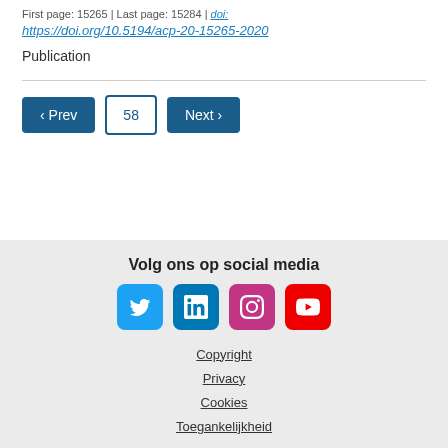First page: 15265 | Last page: 15284 | doi: https://doi.org/10.5194/acp-20-15265-2020
Publication
‹ Prev  58  Next ›
Volg ons op social media | Copyright | Privacy | Cookies | Toegankelijkheid